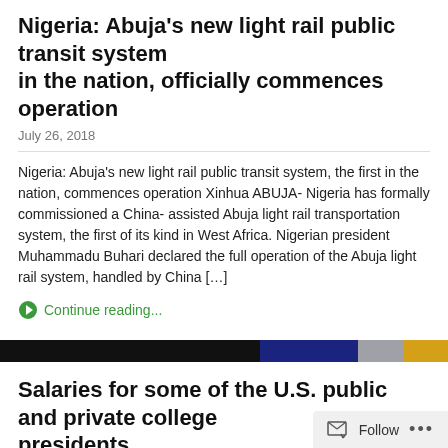Nigeria: Abuja's new light rail public transit system in the nation, officially commences operation
July 26, 2018
Nigeria: Abuja's new light rail public transit system, the first in the nation, commences operation Xinhua ABUJA- Nigeria has formally commissioned a China-assisted Abuja light rail transportation system, the first of its kind in West Africa. Nigerian president Muhammadu Buhari declared the full operation of the Abuja light rail system, handled by China […]
Continue reading...
Salaries for some of the U.S. public and private college presidents
July 16, 2018
Salaries for some of the U.S. public and private college presidents Du...